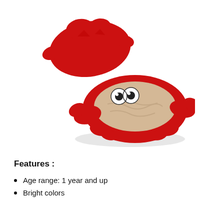[Figure (photo): A red crab-shaped sandbox toy with a removable lid. The sandbox base is shaped like a crab with googly eyes, claws, and legs, filled with sand. The red dome-shaped lid sits separately behind/above it.]
Features :
Age range: 1 year and up
Bright colors